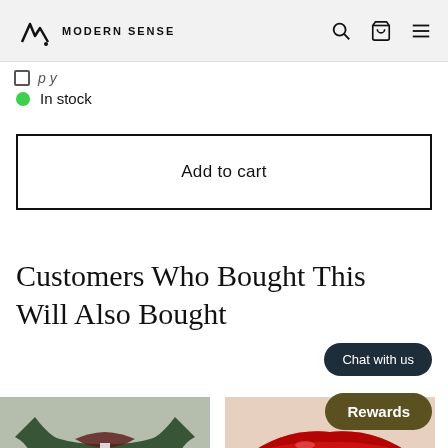Modern Sense — navigation header with logo, search, cart, and menu icons
In stock
Add to cart
Customers Who Bought This Will Also Bought
[Figure (photo): Colorful patterned sweater product thumbnail]
[Figure (photo): Red lips / lipstick product thumbnail]
Chat with us
Rewards